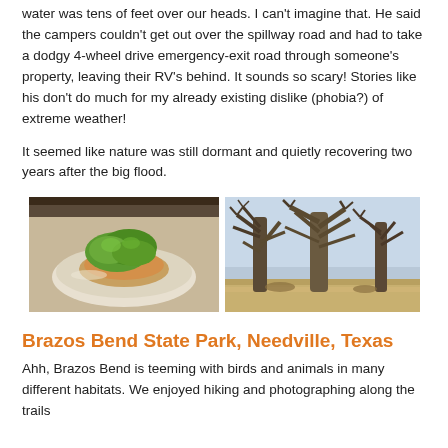water was tens of feet over our heads. I can't imagine that. He said the campers couldn't get out over the spillway road and had to take a dodgy 4-wheel drive emergency-exit road through someone's property, leaving their RV's behind. It sounds so scary! Stories like his don't do much for my already existing dislike (phobia?) of extreme weather!
It seemed like nature was still dormant and quietly recovering two years after the big flood.
[Figure (photo): Two photos side by side: left shows a plate of food with green vegetables on top, right shows bare winter trees in a dry landscape]
Brazos Bend State Park, Needville, Texas
Ahh, Brazos Bend is teeming with birds and animals in many different habitats. We enjoyed hiking and photographing along the trails